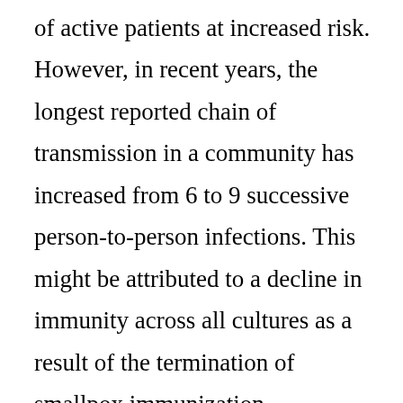of active patients at increased risk. However, in recent years, the longest reported chain of transmission in a community has increased from 6 to 9 successive person-to-person infections. This might be attributed to a decline in immunity across all cultures as a result of the termination of smallpox immunization. Transmission can also occur through the placenta from mother to fetus, which leads to congenital monkeypox, or through intimate contact during and after